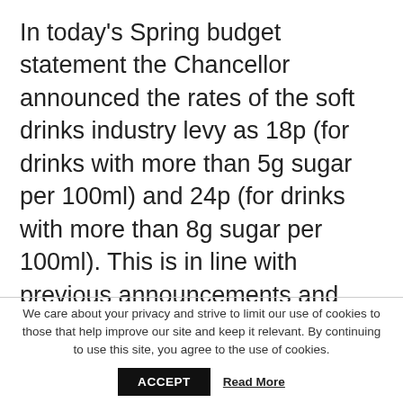In today's Spring budget statement the Chancellor announced the rates of the soft drinks industry levy as 18p (for drinks with more than 5g sugar per 100ml) and 24p (for drinks with more than 8g sugar per 100ml). This is in line with previous announcements and good news. Not only are we one step closer to the levy, but the rates have not been watered down. Academics have calculated that the rates roughly represent a price increase of approximately 30% to sugary drinks.
We care about your privacy and strive to limit our use of cookies to those that help improve our site and keep it relevant. By continuing to use this site, you agree to the use of cookies.